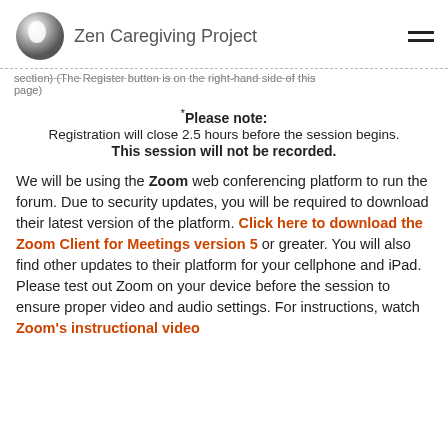Zen Caregiving Project
section) (The Register button is on the right-hand side of this page)
*Please note:
Registration will close 2.5 hours before the session begins.
This session will not be recorded.
We will be using the Zoom web conferencing platform to run the forum. Due to security updates, you will be required to download their latest version of the platform. Click here to download the Zoom Client for Meetings version 5 or greater. You will also find other updates to their platform for your cellphone and iPad. Please test out Zoom on your device before the session to ensure proper video and audio settings. For instructions, watch Zoom's instructional video